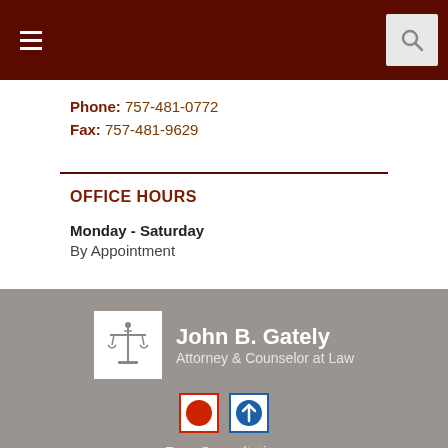[Figure (screenshot): Dark maroon navigation bar with hamburger menu icon on left and search icon on right]
Phone: 757-481-0772
Fax: 757-481-9629
OFFICE HOURS
Monday - Saturday
By Appointment
[Figure (logo): John B. Gately Attorney & Counselor at Law logo with scales of justice]
Free Consultation
757-481-0772